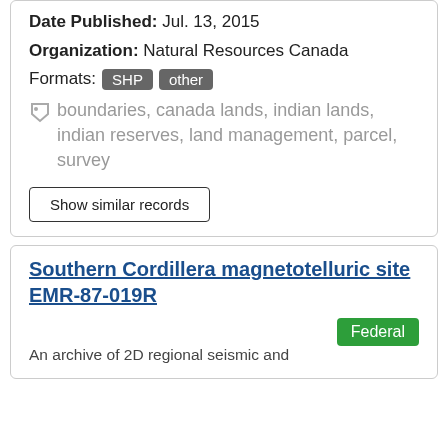Date Published: Jul. 13, 2015
Organization: Natural Resources Canada
Formats: SHP other
boundaries, canada lands, indian lands, indian reserves, land management, parcel, survey
Show similar records
Southern Cordillera magnetotelluric site EMR-87-019R
Federal
An archive of 2D regional seismic and